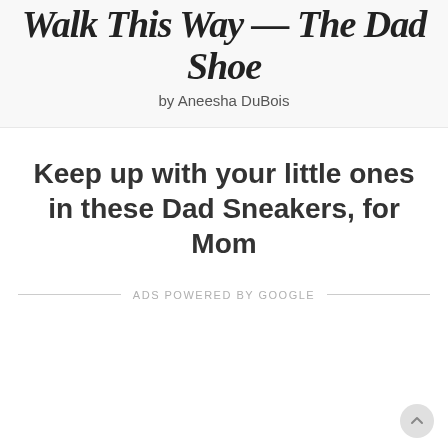Walk This Way — The Dad Shoe
by Aneesha DuBois
Keep up with your little ones in these Dad Sneakers, for Mom
ADS POWERED BY GOOGLE